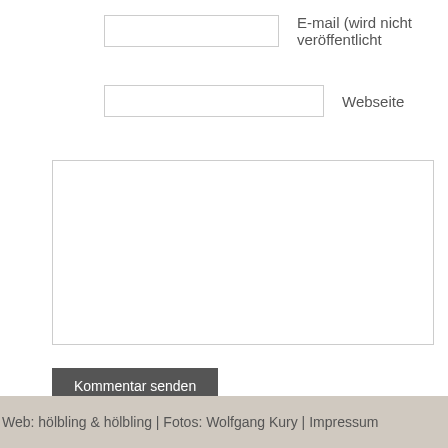E-mail (wird nicht veröffentlicht)
Webseite
Kommentar senden
Web: hölbling & hölbling | Fotos: Wolfgang Kury | Impressum